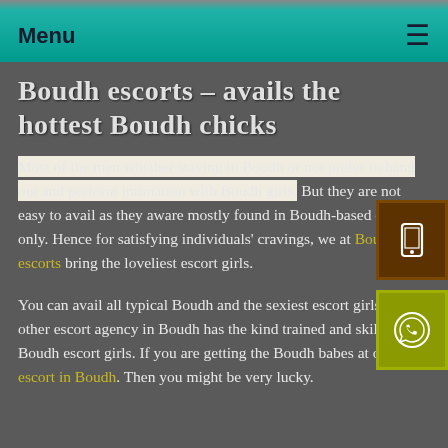Menu ≡
Boudh escorts - avails the hottest Boudh chicks
Most of the men whether staying in Boudh or not prefer to hang out and perform intimation with Boudh girls. But they are not easy to avail as they aware mostly found in Boudh-based cities only. Hence for satisfying individuals' cravings, we at Boudh escorts bring the loveliest escort girls.
You can avail all typical Boudh and the sexiest escort girls. No other escort agency in Boudh has the kind trained and skilled Boudh escort girls. If you are getting the Boudh babes at our escort in Boudh. Then you might be very lucky.